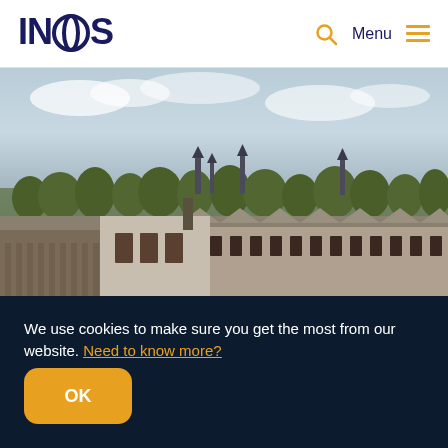INEOS | Menu
[Figure (photo): Aerial view of a modern industrial/academic building complex with sawtooth roofline in the foreground and Oxford city skyline with spires and trees visible in the background under a partly cloudy sky.]
We use cookies to make sure you get the most from our website. Need to know more?
OK